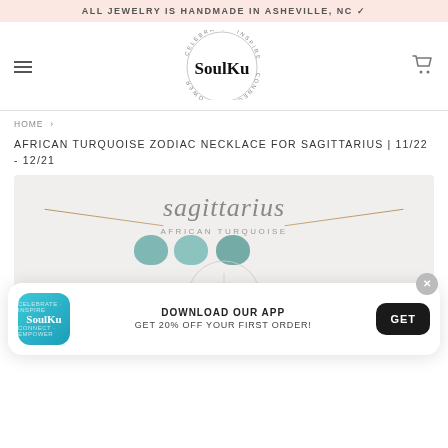ALL JEWELRY IS HANDMADE IN ASHEVILLE, NC
[Figure (logo): SoulKu brand logo with circular text 'CELEBRATE · INSPIRE · CONNECT · EMPOWER' around the brand name SoulKu]
HOME ›
AFRICAN TURQUOISE ZODIAC NECKLACE FOR SAGITTARIUS | 11/22 - 12/21
[Figure (photo): Product photo showing African Turquoise stones on a necklace with 'sagittarius' text and 'AFRICAN TURQUOISE' subtitle on a light grey background, with a zodiac circle ornament below]
DOWNLOAD OUR APP GET 20% OFF YOUR FIRST ORDER!